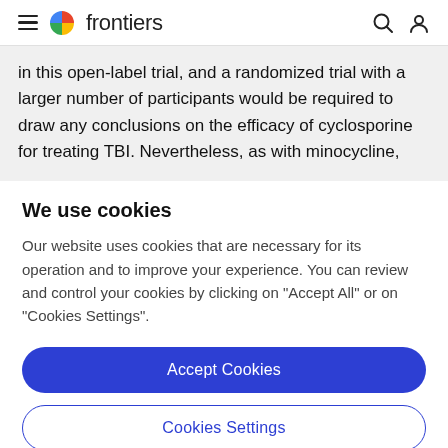frontiers
in this open-label trial, and a randomized trial with a larger number of participants would be required to draw any conclusions on the efficacy of cyclosporine for treating TBI. Nevertheless, as with minocycline,
We use cookies
Our website uses cookies that are necessary for its operation and to improve your experience. You can review and control your cookies by clicking on "Accept All" or on "Cookies Settings".
Accept Cookies
Cookies Settings